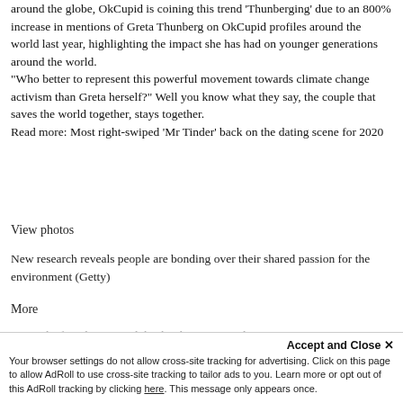around the globe, OkCupid is coining this trend 'Thunberging' due to an 800% increase in mentions of Greta Thunberg on OkCupid profiles around the world last year, highlighting the impact she has had on younger generations around the world.
"Who better to represent this powerful movement towards climate change activism than Greta herself?" Well you know what they say, the couple that saves the world together, stays together.
Read more: Most right-swiped 'Mr Tinder' back on the dating scene for 2020
View photos
New research reveals people are bonding over their shared passion for the environment (Getty)
More
It isn't the first dating trend that has been spawned...phenomenon known as 'pairedclimate' which describes
Accept and Close ✕
Your browser settings do not allow cross-site tracking for advertising. Click on this page to allow AdRoll to use cross-site tracking to tailor ads to you. Learn more or opt out of this AdRoll tracking by clicking here. This message only appears once.